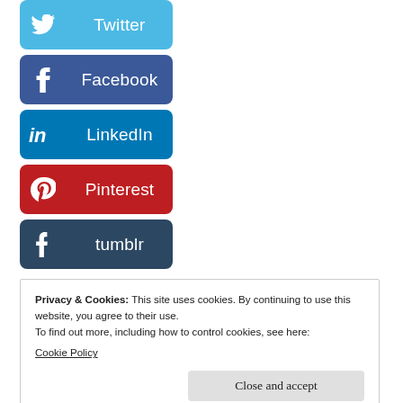[Figure (other): Twitter social share button (sky blue, bird icon)]
[Figure (other): Facebook social share button (dark blue, f icon)]
[Figure (other): LinkedIn social share button (blue, in icon)]
[Figure (other): Pinterest social share button (red, P icon)]
[Figure (other): Tumblr social share button (dark navy, t icon)]
Privacy & Cookies: This site uses cookies. By continuing to use this website, you agree to their use.
To find out more, including how to control cookies, see here:
Cookie Policy
Close and accept